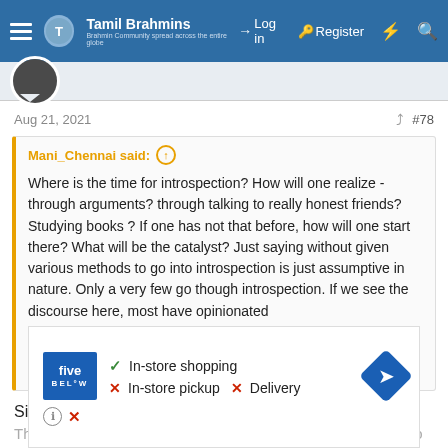Tamil Brahmins | Log in | Register
Aug 21, 2021  #78
Mani_Chennai said: ↑
Where is the time for introspection? How will one realize - through arguments? through talking to really honest friends? Studying books ? If one has not that before, how will one start there? What will be the catalyst? Just saying without given various methods to go into introspection is just assumptive in nature. Only a very few go though introspection. If we see the discourse here, most have opinionated and with closed mind. Change is fearful and we have not learned to coop with new situations.
Click to expand...
Sir
The problem is indeed complex. People here are just trying to
[Figure (infographic): Five Below store advertisement showing In-store shopping (checkmark), In-store pickup (X), Delivery (X), with navigation icon]